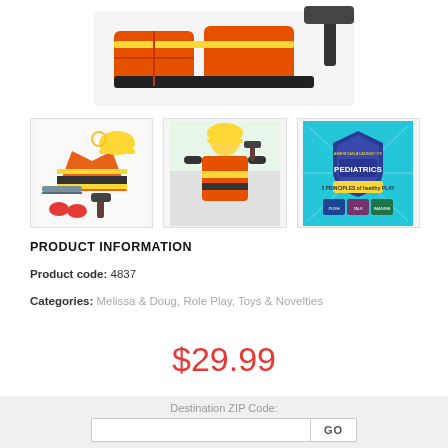[Figure (photo): Top partial view of a construction worker role play costume set showing orange safety vest with tool belt and hammer on white background]
[Figure (photo): Thumbnail 1: Flat lay of construction worker costume set with orange vest, yellow hard hat, tool belt, saw, hammer, and gloves]
[Figure (photo): Thumbnail 2: Child model wearing orange safety vest costume with yellow hard hat holding a play hammer]
[Figure (photo): Thumbnail 3: American Academy of Pediatrics partnership badge - 3 Principles of Healthy Play on teal background]
PRODUCT INFORMATION
Product code: 4837
Categories: Melissa & Doug, Role Play, Toys & Novelties
$29.99
Destination ZIP Code: